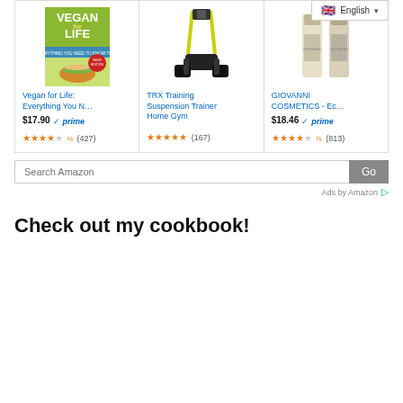[Figure (screenshot): Amazon product ads section showing three products: Vegan for Life book, TRX Training Suspension Trainer, and Giovanni Cosmetics. With a language selector (English) in top right, search bar, and Ads by Amazon label.]
Check out my cookbook!